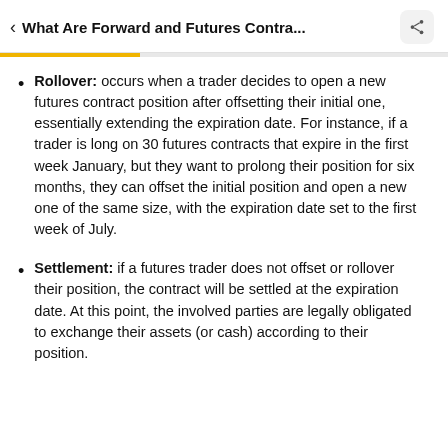What Are Forward and Futures Contra...
Rollover: occurs when a trader decides to open a new futures contract position after offsetting their initial one, essentially extending the expiration date. For instance, if a trader is long on 30 futures contracts that expire in the first week January, but they want to prolong their position for six months, they can offset the initial position and open a new one of the same size, with the expiration date set to the first week of July.
Settlement: if a futures trader does not offset or rollover their position, the contract will be settled at the expiration date. At this point, the involved parties are legally obligated to exchange their assets (or cash) according to their position.